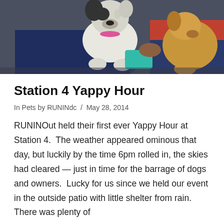[Figure (photo): A photo of two dogs being held by people sitting on the ground. One dog is a white and black bulldog-type breed in the center, and a tan/golden dog is visible on the right. The people are wearing dark blue jeans.]
Station 4 Yappy Hour
In Pets by RUNINdc / May 28, 2014
RUNINOut held their first ever Yappy Hour at Station 4.  The weather appeared ominous that day, but luckily by the time 6pm rolled in, the skies had cleared — just in time for the barrage of dogs and owners.  Lucky for us since we held our event in the outside patio with little shelter from rain.  There was plenty of